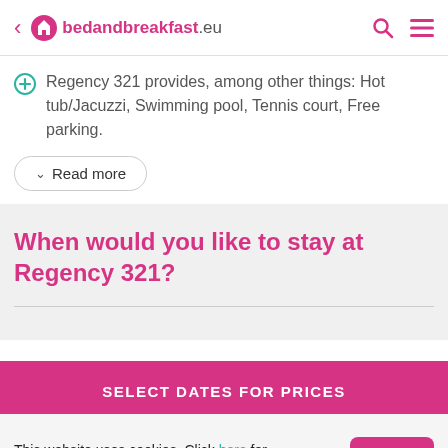bedandbreakfast.eu
Regency 321 provides, among other things: Hot tub/Jacuzzi, Swimming pool, Tennis court, Free parking.
Read more
When would you like to stay at Regency 321?
SELECT DATES FOR PRICES
This website uses cookies. Click here for more information.